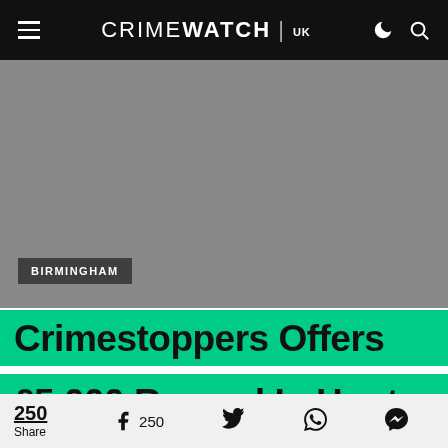CRIMEWATCH | UK
[Figure (photo): Gray placeholder image area with BIRMINGHAM category tag overlay]
Crimestoppers Offers £5,000 Reward In Hunt For
250 Share  250